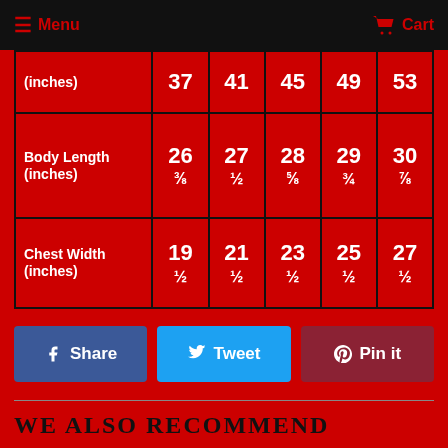Menu   Cart
|  | Col1 | Col2 | Col3 | Col4 | Col5 |
| --- | --- | --- | --- | --- | --- |
| (inches) | 37 | 41 | 45 | 49 | 53 |
| Body Length (inches) | 26 ⅜ | 27 ½ | 28 ⅝ | 29 ¾ | 30 ⅞ |
| Chest Width (inches) | 19 ½ | 21 ½ | 23 ½ | 25 ½ | 27 ½ |
Share   Tweet   Pin it
WE ALSO RECOMMEND